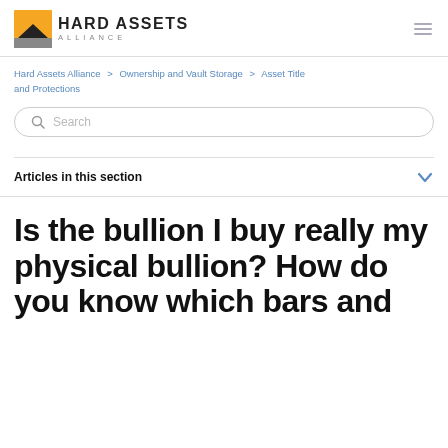Hard Assets Alliance
Hard Assets Alliance > Ownership and Vault Storage > Asset Title and Protections
Search
Articles in this section
Is the bullion I buy really my physical bullion? How do you know which bars and